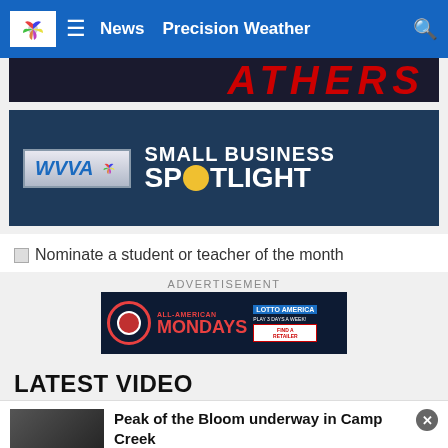WVVA News - Precision Weather
[Figure (screenshot): Partial hero image with red stylized text on dark background]
[Figure (screenshot): WVVA Small Business Spotlight promotional banner with WVVA NBC logo and spotlight text]
Nominate a student or teacher of the month
ADVERTISEMENT
[Figure (screenshot): Lotto America All-American Mondays advertisement banner - Play 3 days a week, Find a Retailer]
LATEST VIDEO
Peak of the Bloom underway in Camp Creek